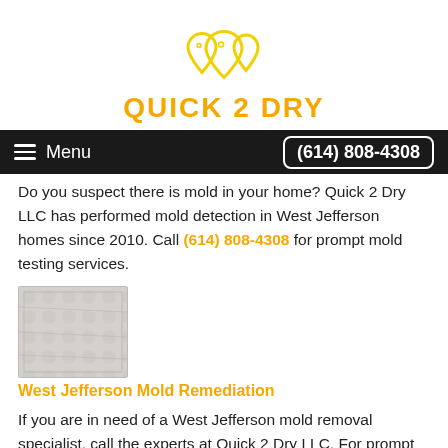[Figure (logo): Quick 2 Dry logo — three yellow water drop outlines above orange bold text reading QUICK 2 DRY]
Menu | (614) 808-4308
Do you suspect there is mold in your home? Quick 2 Dry LLC has performed mold detection in West Jefferson homes since 2010. Call (614) 808-4308 for prompt mold testing services.
[Figure (photo): Photo of mold-affected white material or wall surface]
West Jefferson Mold Remediation
If you are in need of a West Jefferson mold removal specialist, call the experts at Quick 2 Dry LLC. For prompt mold remediation, call (614) 808-4308 today.
[Figure (photo): Partial photo at bottom of page, appears to show a driveway or exterior surface — partially cropped]